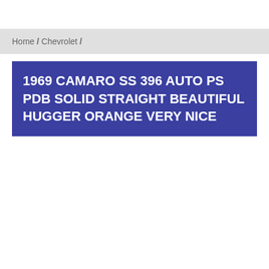Home / Chevrolet /
1969 CAMARO SS 396 AUTO PS PDB SOLID STRAIGHT BEAUTIFUL HUGGER ORANGE VERY NICE